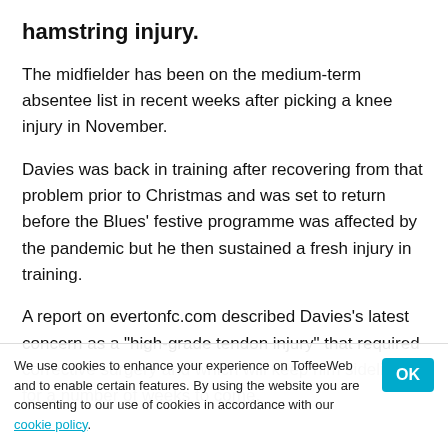hamstring injury.
The midfielder has been on the medium-term absentee list in recent weeks after picking a knee injury in November.
Davies was back in training after recovering from that problem prior to Christmas and was set to return before the Blues' festive programme was affected by the pandemic but he then sustained a fresh injury in training.
A report on evertonfc.com described Davies's latest concern as a "high-grade tendon injury" that required corrective surgery and which will keep him sidelined for a number of weeks to come.
We use cookies to enhance your experience on ToffeeWeb and to enable certain features. By using the website you are consenting to our use of cookies in accordance with our cookie policy.